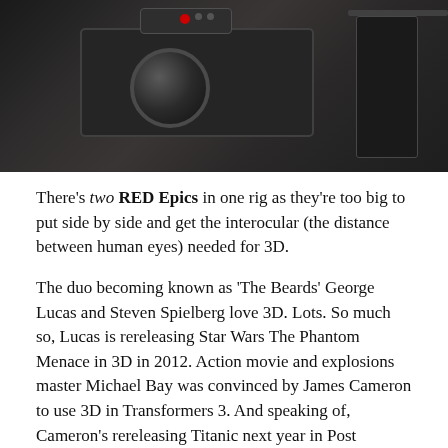[Figure (photo): Dark photograph of a RED Epic camera rig setup, showing camera body, lens, and equipment against a dark background]
There's two RED Epics in one rig as they're too big to put side by side and get the interocular (the distance between human eyes) needed for 3D.
The duo becoming known as 'The Beards' George Lucas and Steven Spielberg love 3D. Lots. So much so, Lucas is rereleasing Star Wars The Phantom Menace in 3D in 2012. Action movie and explosions master Michael Bay was convinced by James Cameron to use 3D in Transformers 3. And speaking of, Cameron's rereleasing Titanic next year in Post converted 3D … this just screams money making schemes to me.
More recently joining the fray, the director I'm more likely to